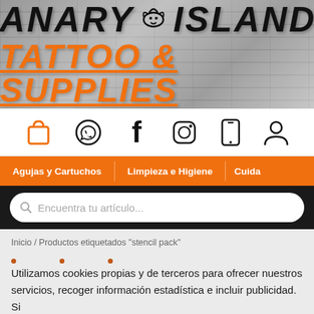[Figure (logo): Canary Islands Tattoo & Supplies logo on brick wall background. 'CANARY ISLANDS' in black bold italic text, 'TATTOO & SUPPLIES' in orange bold italic underlined text, with a small bee/insect graphic.]
[Figure (infographic): Icon row with shopping bag (orange), WhatsApp, Facebook, Instagram, mobile phone, and user/account icons in black outline style.]
Agujas y Cartuchos    Limpieza e Higiene    Cuida
Encuentra tu artículo...
Inicio / Productos etiquetados "stencil pack"
Utilizamos cookies propias y de terceros para ofrecer nuestros servicios, recoger información estadística e incluir publicidad. Si